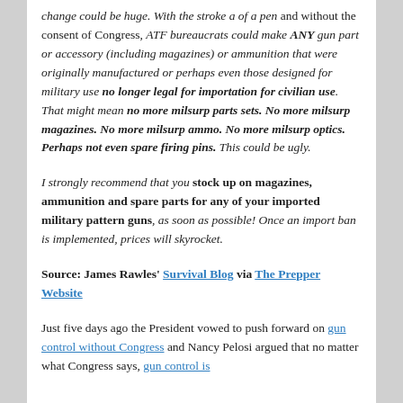change could be huge. With the stroke a of a pen and without the consent of Congress, ATF bureaucrats could make ANY gun part or accessory (including magazines) or ammunition that were originally manufactured or perhaps even those designed for military use no longer legal for importation for civilian use. That might mean no more milsurp parts sets. No more milsurp magazines. No more milsurp ammo. No more milsurp optics. Perhaps not even spare firing pins. This could be ugly.
I strongly recommend that you stock up on magazines, ammunition and spare parts for any of your imported military pattern guns, as soon as possible! Once an import ban is implemented, prices will skyrocket.
Source: James Rawles' Survival Blog via The Prepper Website
Just five days ago the President vowed to push forward on gun control without Congress and Nancy Pelosi argued that no matter what Congress says, gun control is